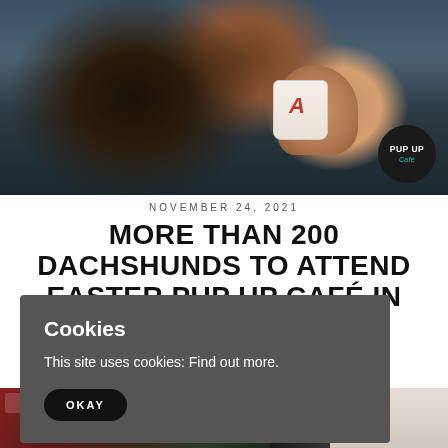[Figure (photo): Close-up photo of a dachshund dog drinking from a small white coffee cup held by a human hand. A circular dark badge in the bottom-right corner of the image reads 'PUP UP Café'.]
NOVEMBER 24, 2021
MORE THAN 200 DACHSHUNDS TO ATTEND EASTER PUP UP CAFÉ IN PUTNEY
Cookies
This site uses cookies: Find out more.
OKAY
[Figure (photo): Two partial photos visible at the bottom of the page, partially obscured by the cookie consent overlay.]